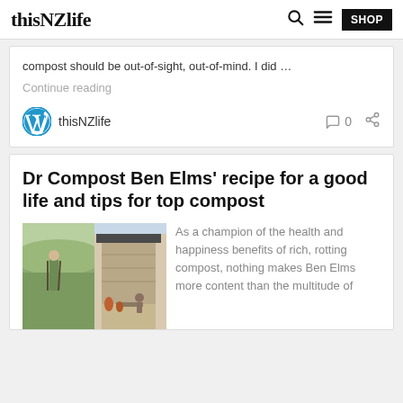thisNZlife
compost should be out-of-sight, out-of-mind. I did …
Continue reading
thisNZlife  0
Dr Compost Ben Elms' recipe for a good life and tips for top compost
[Figure (photo): Dr Compost Ben Elms standing in a field with farming tools, and a second image of a stone building with outdoor seating area]
As a champion of the health and happiness benefits of rich, rotting compost, nothing makes Ben Elms more content than the multitude of